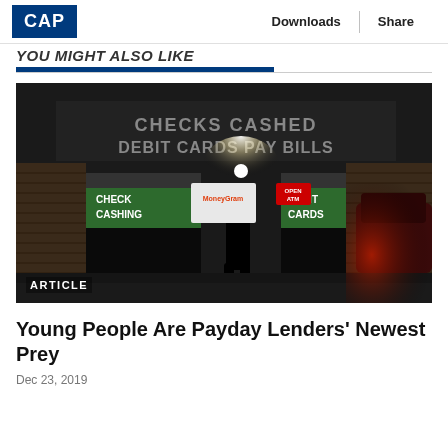CAP  Downloads  Share
YOU MIGHT ALSO LIKE
[Figure (photo): Nighttime exterior photo of a check-cashing / payday lending storefront. Signs read 'CHECKS CASHED DEBIT CARDS PAY BILLS' and 'CHECK CASHING DEBIT CARDS'. A silhouetted person stands at the entrance. Label 'ARTICLE' in lower left corner.]
Young People Are Payday Lenders' Newest Prey
Dec 23, 2019